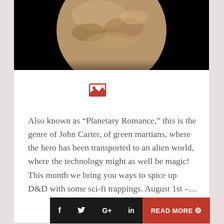[Figure (photo): Planet or celestial body (Mars-like) against black background, top portion of a card layout]
[Figure (illustration): Image placeholder icon in a white circle — red outlined rectangle with mountain/sun symbol]
Also known as “Planetary Romance,” this is the genre of John Carter, of green martians, where the hero has been transported to an alien world, where the technology might as well be magic! This month we bring you ways to spice up D&D with some sci-fi trappings. August 1st –...
[Figure (infographic): Bottom action bar with social media icons (f, Twitter bird, G+, in) on dark background and READ MORE button with arrow on red background]